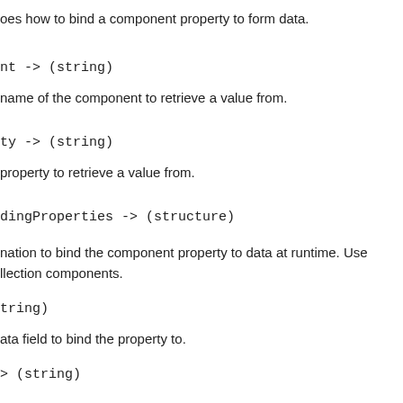oes how to bind a component property to form data.
nt -> (string)
name of the component to retrieve a value from.
ty -> (string)
property to retrieve a value from.
dingProperties -> (structure)
nation to bind the component property to data at runtime. Use llection components.
tring)
ata field to bind the property to.
> (string)
mponent property to bind to the data field.
ame -> (string)
e of the component that is affected by an event.